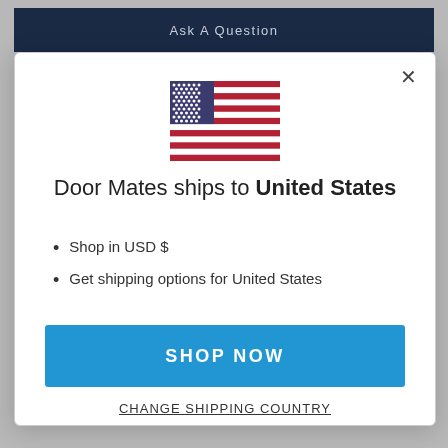Ask A Question
[Figure (illustration): United States flag icon]
Door Mates ships to United States
Shop in USD $
Get shipping options for United States
SHOP NOW
CHANGE SHIPPING COUNTRY